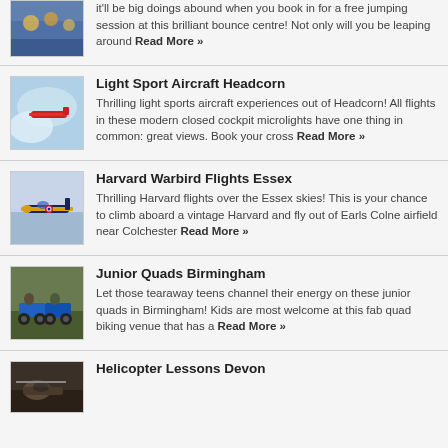[Figure (photo): People jumping at a bounce centre]
it'll be big doings abound when you book in for a free jumping session at this brilliant bounce centre! Not only will you be leaping around Read More »
[Figure (photo): Light sport aircraft flying in clouds]
Light Sport Aircraft Headcorn
Thrilling light sports aircraft experiences out of Headcorn! All flights in these modern closed cockpit microlights have one thing in common: great views. Book your cross Read More »
[Figure (photo): Harvard Warbird aircraft flying]
Harvard Warbird Flights Essex
Thrilling Harvard flights over the Essex skies! This is your chance to climb aboard a vintage Harvard and fly out of Earls Colne airfield near Colchester Read More »
[Figure (photo): Junior quads bikes with riders in Birmingham]
Junior Quads Birmingham
Let those tearaway teens channel their energy on these junior quads in Birmingham! Kids are most welcome at this fab quad biking venue that has a Read More »
[Figure (photo): Helicopter on ground Devon]
Helicopter Lessons Devon